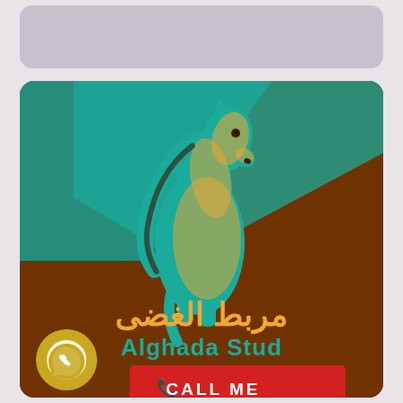[Figure (logo): Alghada Stud logo card with teal and brown diagonal background, horse silhouette in teal and gold, Arabic text مربط الغضى, English text Alghada Stud, WhatsApp button, and red CALL ME button]